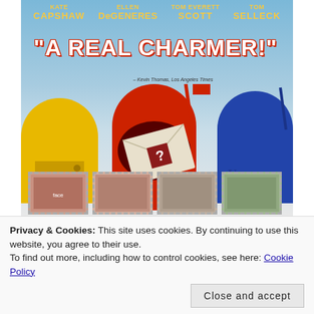[Figure (photo): Movie poster showing three colorful mailboxes (yellow, red, blue) against a sky background. Actor names at top: Kate Capshaw, Ellen DeGeneres, Tom Everett Scott, Tom Selleck. Large red quote text reads: 'A REAL CHARMER!' with credit to Kevin Thomas, Los Angeles Times. Photo stamps at the bottom showing faces.]
Privacy & Cookies: This site uses cookies. By continuing to use this website, you agree to their use.
To find out more, including how to control cookies, see here: Cookie Policy
Close and accept
Love Letters